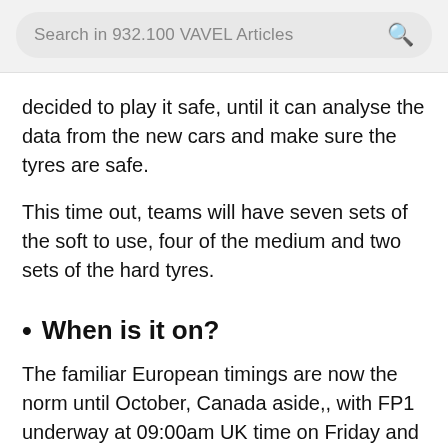Search in 932.100 VAVEL Articles
decided to play it safe, until it can analyse the data from the new cars and make sure the tyres are safe.
This time out, teams will have seven sets of the soft to use, four of the medium and two sets of the hard tyres.
When is it on?
The familiar European timings are now the norm until October, Canada aside,, with FP1 underway at 09:00am UK time on Friday and Qualifying